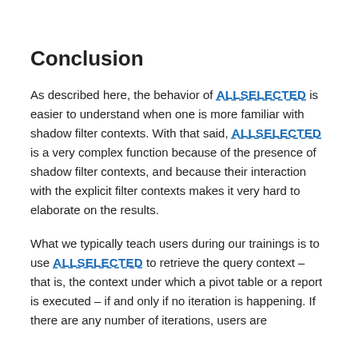Conclusion
As described here, the behavior of ALLSELECTED is easier to understand when one is more familiar with shadow filter contexts. With that said, ALLSELECTED is a very complex function because of the presence of shadow filter contexts, and because their interaction with the explicit filter contexts makes it very hard to elaborate on the results.
What we typically teach users during our trainings is to use ALLSELECTED to retrieve the query context – that is, the context under which a pivot table or a report is executed – if and only if no iteration is happening. If there are any number of iterations, users are